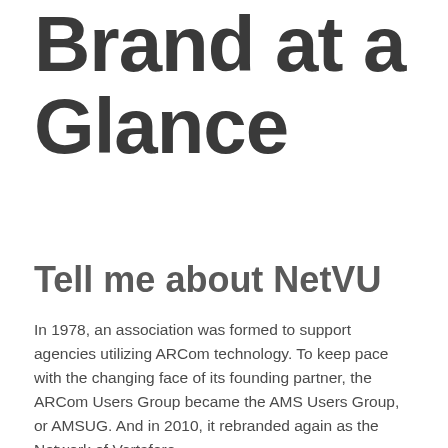Brand at a Glance
Tell me about NetVU
In 1978, an association was formed to support agencies utilizing ARCom technology. To keep pace with the changing face of its founding partner, the ARCom Users Group became the AMS Users Group, or AMSUG. And in 2010, it rebranded again as the Network of Vertafore